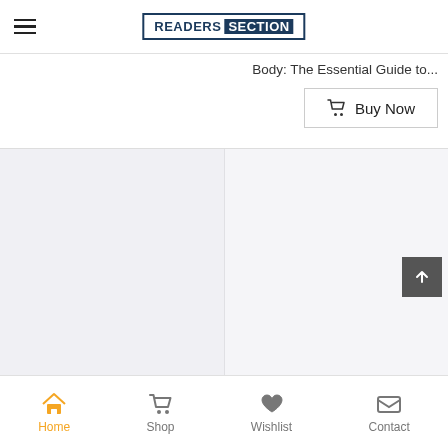[Figure (logo): Readers Section logo with hamburger menu icon on the left and the brand logo in the center of the header bar]
Body: The Essential Guide to...
Buy Now
[Figure (screenshot): Content area split into two panels with light grey backgrounds, representing a product page below the header]
Home  Shop  Wishlist  Contact